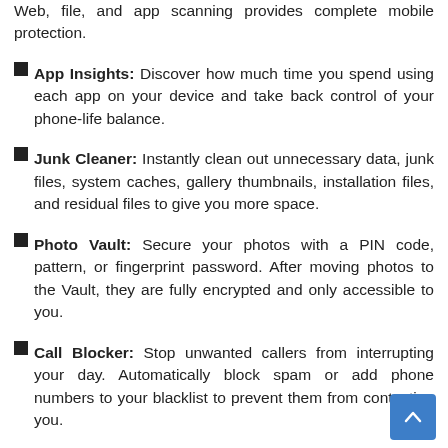Web, file, and app scanning provides complete mobile protection.
App Insights: Discover how much time you spend using each app on your device and take back control of your phone-life balance.
Junk Cleaner: Instantly clean out unnecessary data, junk files, system caches, gallery thumbnails, installation files, and residual files to give you more space.
Photo Vault: Secure your photos with a PIN code, pattern, or fingerprint password. After moving photos to the Vault, they are fully encrypted and only accessible to you.
Call Blocker: Stop unwanted callers from interrupting your day. Automatically block spam or add phone numbers to your blacklist to prevent them from contacting you.